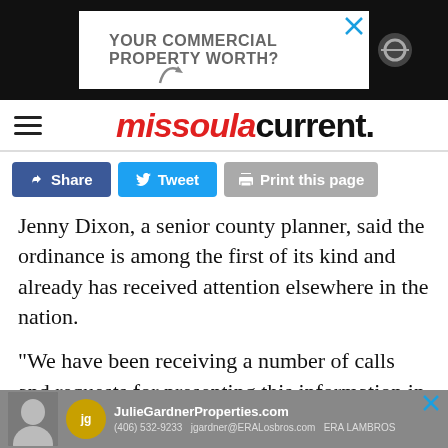[Figure (other): Top advertisement banner: 'YOUR COMMERCIAL PROPERTY WORTH?' with close button and icon]
missoula current.
Share | Tweet | Print this page
Jenny Dixon, a senior county planner, said the ordinance is among the first of its kind and already has received attention elsewhere in the nation.
“We have been receiving a number of calls and requests for presenting this information in other parts of the county, where cryptocurrency mining
[Figure (other): Bottom advertisement: JulieGardnerProperties.com with agent photo and ERA Lambros branding]